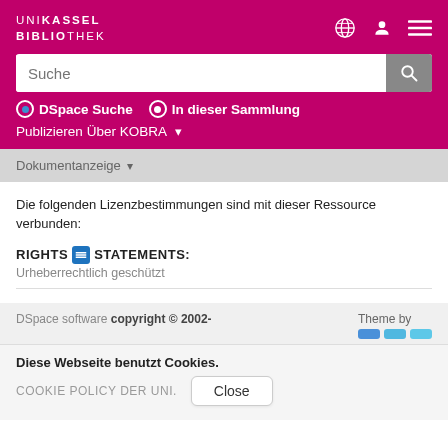UNI KASSEL BIBLIOTHEK
Suche
● DSpace Suche   ○ In dieser Sammlung
Publizieren Über KOBRA ▾
Dokumentanzeige ▾
Die folgenden Lizenzbestimmungen sind mit dieser Ressource verbunden:
RIGHTS STATEMENTS: Urheberrechtlich geschützt
DSpace software copyright © 2002-   Theme by
Diese Webseite benutzt Cookies.
COOKIE POLICY DER UNI.   Close